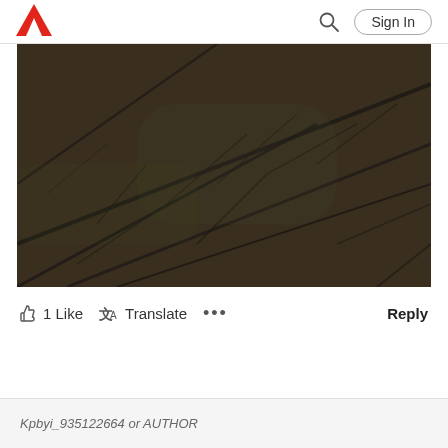Adobe logo | Search | Sign In
[Figure (photo): Close-up macro photograph of a dark leaf showing intricate vein network patterns against a dark brown-green background]
1 Like   Translate   ...   Reply
Kpbyi_935122664 or AUTHOR